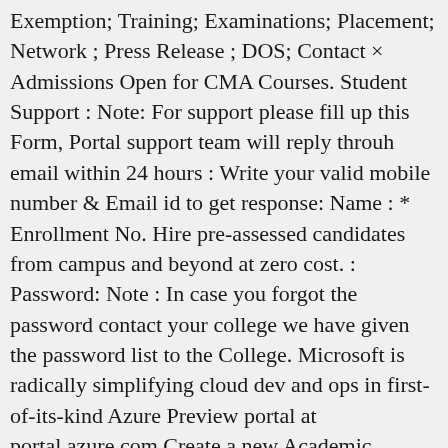Exemption; Training; Examinations; Placement; Network ; Press Release ; DOS; Contact × Admissions Open for CMA Courses. Student Support : Note: For support please fill up this Form, Portal support team will reply throuh email within 24 hours : Write your valid mobile number & Email id to get response: Name : * Enrollment No. Hire pre-assessed candidates from campus and beyond at zero cost. : Password: Note : In case you forgot the password contact your college we have given the password list to the College. Microsoft is radically simplifying cloud dev and ops in first-of-its-kind Azure Preview portal at portal.azure.com Create a new Academic Account. Subscribe for CS Journal; Track Subscription; Training Automation Portal; ... College / GU Department Login. Student Support Portal. Join us on March 24 for the next SAP Enterprise Support Day. More Info. Counsellor Registration (New Application) Status of Application of Registration for Counsellor Entities; Print Receipts; For